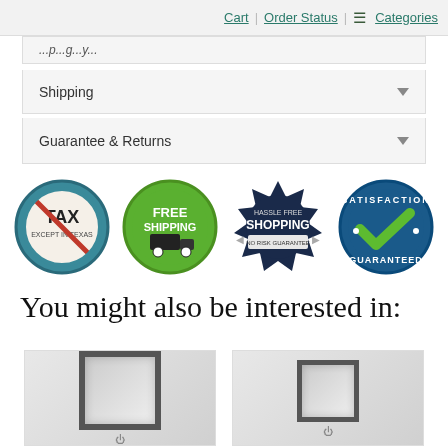Cart | Order Status | ☰ Categories
Shipping
Guarantee & Returns
[Figure (infographic): Four circular badge icons: 1) No TAX (Except in Texas) - teal circle with tax crossed out, 2) FREE SHIPPING - green circle with delivery truck, 3) HASSLE FREE SHOPPING NO RISK GUARANTEE - dark badge seal, 4) SATISFACTION GUARANTEED - blue circle with green checkmark]
You might also be interested in:
[Figure (photo): Product photo showing a square framed mirror on a light grey wall with wall outlet below]
[Figure (photo): Product photo showing a smaller square framed mirror on a light grey wall with wall outlet below]